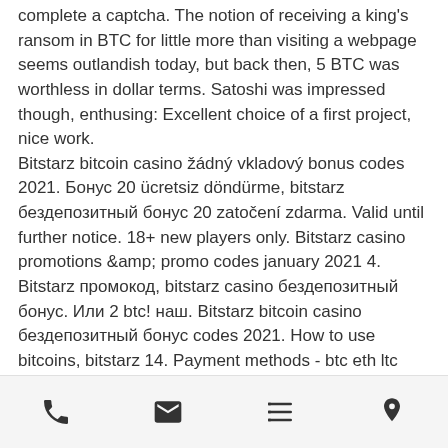complete a captcha. The notion of receiving a king's ransom in BTC for little more than visiting a webpage seems outlandish today, but back then, 5 BTC was worthless in dollar terms. Satoshi was impressed though, enthusing: Excellent choice of a first project, nice work. Bitstarz bitcoin casino žádný vkladový bonus codes 2021. Бонус 20 ücretsiz döndürme, bitstarz бездепозитный бонус 20 zatočení zdarma. Valid until further notice. 18+ new players only. Bitstarz casino promotions &amp; promo codes january 2021 4. Bitstarz промокод, bitstarz casino бездепозитный бонус. Или 2 btc! наш. Bitstarz bitcoin casino бездепозитный бонус codes 2021. How to use bitcoins, bitstarz 14. Payment methods - btc eth ltc dog usdt, visa, mastercard, skrill,. Allright casino –
[phone icon] [email icon] [menu icon] [location icon]